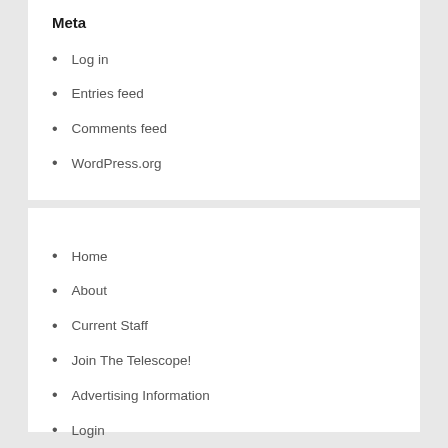Meta
Log in
Entries feed
Comments feed
WordPress.org
Home
About
Current Staff
Join The Telescope!
Advertising Information
Login